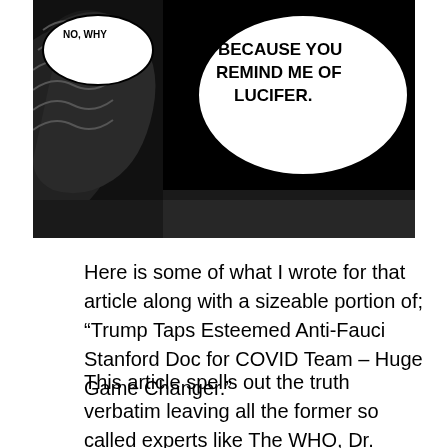[Figure (illustration): Black and white comic strip panel showing a speech bubble that reads 'BECAUSE YOU REMIND ME OF LUCIFER.' with a partial figure visible on the left side.]
Here is some of what I wrote for that article along with a sizeable portion of; “Trump Taps Esteemed Anti-Fauci Stanford Doc for COVID Team – Huge Game Changer.”
This article spells out the truth verbatim leaving all the former so called experts like The WHO, Dr. Fauci and Dr. Birx in conjunction with CCP, Bill Gates holding the bag with the nefarious diabolical US “Democrat party” lead by Pelosi and Schumer for the crimes of premeditated mass